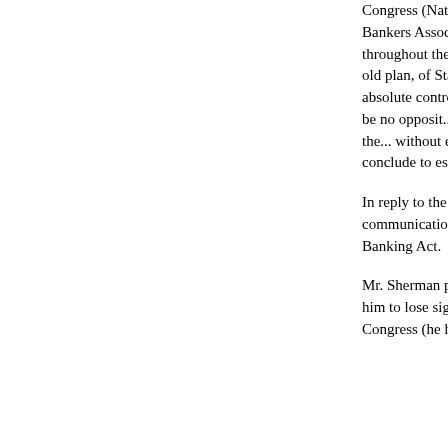Congress (National Bank Act of 1863), a copy of whi... Apparently this act has been drawn upon the plan fo... British Bankers Association and by that Association ... friends as one that if enacted into law, would prove h... fraternity throughout the world. Mr. Sherman declare... been such an opportunity for capitalists to accumula... this act and that the old plan, of State Banks is so u... will, by contrast, be most favorably regarded, notwith... national Banks an almost absolute control of the Na... understand the system,' he says 'will either be so in... dependent on its favors, that there will be no opposit... other hand, the great body of people, mentally incap... tremendous advantages that capital derives from the... without even suspecting that the system is inimical t... us fully as to this matter and also state whether or n... if we conclude to establish a National Bank in the Ci... reply, we are." (Rothschild Brothers. London, June 2... Money).
In reply to the above letter Messrs. Ikelheimer, Mort... Sirs: 'We beg to acknowledge receipt of your letter o... a communication received from Honorable John She... the advantages, and profits, of an American investm... National Banking Act.
Mr. Sherman possesses, in a marked degree, the di... successful financier. His temperament is such that w... never cause him to lose sight of the main chance. H... ambitious. He has fixed his eyes upon the Presiden... already is a member of Congress (he has financial a...